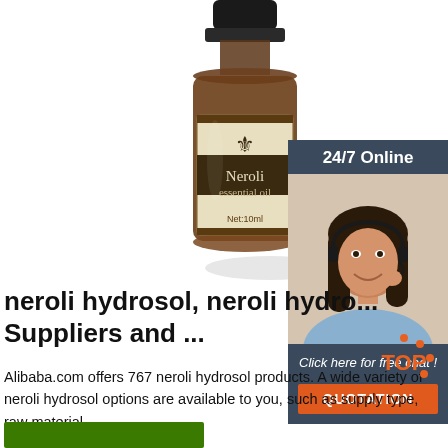[Figure (photo): Neroli essential oil bottle, dark amber glass with cream label showing fleur-de-lis symbol, text 'Neroli essential oil', Net:10ml]
[Figure (infographic): Sidebar advertisement: 24/7 Online, woman with headset, 'Click here for free chat!', orange QUOTATION button]
neroli hydrosol, neroli hydro... Suppliers and ...
Alibaba.com offers 767 neroli hydrosol products. A wide variety of neroli hydrosol options are available to you, such as supply type, raw material.
[Figure (logo): TOP badge with orange dots]